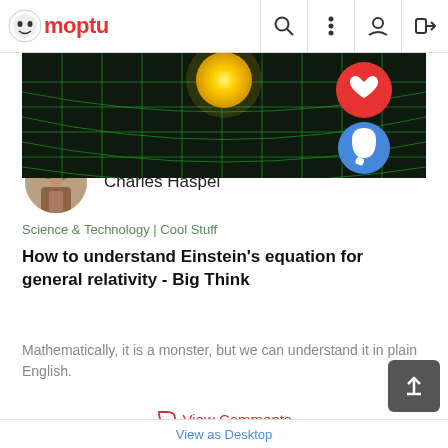Moptu
[Figure (photo): Dark space/physics banner image with green grid, yellow sphere, red heart button, and blue comment button]
[Figure (photo): Circular avatar photo of a family group]
Charles Haspel
Science & Technology | Cool Stuff
How to understand Einstein's equation for general relativity - Big Think
Mathematically, it is a monster, but we can understand it in plain English.
View Comments
Einstein
Math
Physics
2-Jul-2022  109  0  0  1
View as Desktop